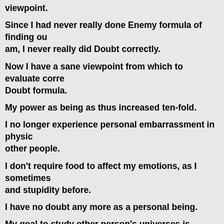viewpoint.
Since I had never really done Enemy formula of finding out who I am, I never really did Doubt correctly.
Now I have a sane viewpoint from which to evaluate correctly Doubt formula.
My power as being as thus increased ten-fold.
I no longer experience personal embarrassment in physical presence of other people.
I don't require food to affect my emotions, as I sometimes used due to and stupidity before.
I have no doubt any more as a personal being.
My goal to study other person's universes is becoming clearer. I'm not involved in making a mess of mine anymore. I know who I am. "Who's that guy" is the basic mystery, sez LRH.
I don't require anything from anyone for helping me on love lines. I can do it myself. I don't require love to fix me as I thought I ne